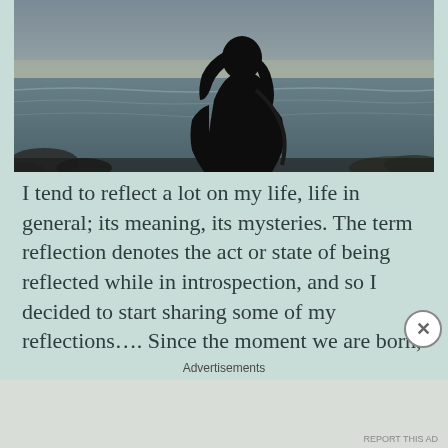[Figure (photo): Silhouette of a person with long hair sitting or standing by the ocean, viewed from behind. Dark figure against a moody sky and ocean background with rocks visible.]
I tend to reflect a lot on my life, life in general; its meaning, its mysteries. The term reflection denotes the act or state of being reflected while in introspection, and so I decided to start sharing some of my reflections…. Since the moment we are born, we carry within divinity
Advertisements